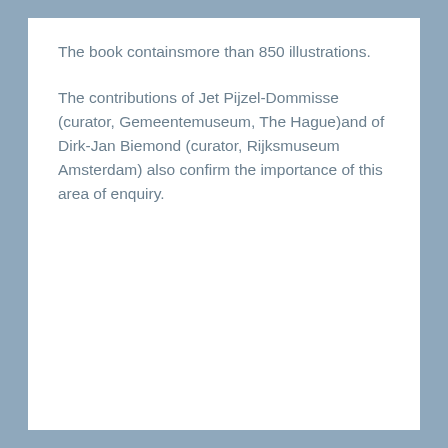The book containsmore than 850 illustrations.
The contributions of Jet Pijzel-Dommisse (curator, Gemeentemuseum, The Hague)and of Dirk-Jan Biemond (curator, Rijksmuseum Amsterdam) also confirm the importance of this area of enquiry.